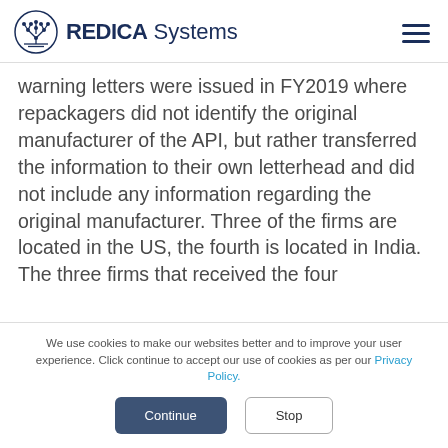REDICA Systems
warning letters were issued in FY2019 where repackagers did not identify the original manufacturer of the API, but rather transferred the information to their own letterhead and did not include any information regarding the original manufacturer. Three of the firms are located in the US, the fourth is located in India. The three firms that received the four
We use cookies to make our websites better and to improve your user experience. Click continue to accept our use of cookies as per our Privacy Policy.